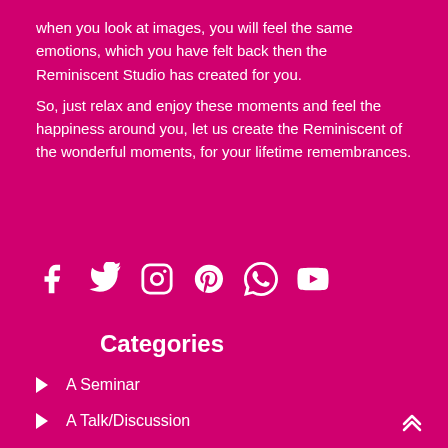when you look at images, you will feel the same emotions, which you have felt back then the Reminiscent Studio has created for you.

So, just relax and enjoy these moments and feel the happiness around you, let us create the Reminiscent of the wonderful moments, for your lifetime remembrances.
[Figure (infographic): Row of 6 white social media icons on magenta background: Facebook, Twitter, Instagram, Pinterest, WhatsApp, YouTube]
Categories
A Seminar
A Talk/Discussion
A Technical Guide For Photographer